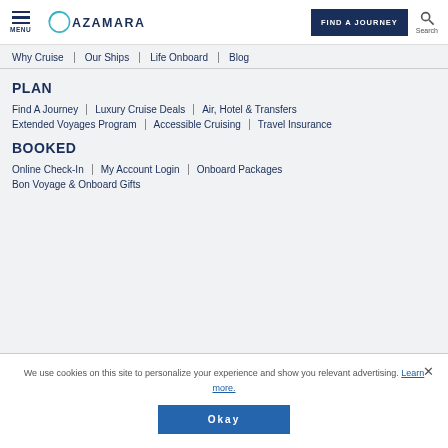MENU | Azamara | FIND A JOURNEY | Search
Why Cruise | Our Ships | Life Onboard | Blog
PLAN
Find A Journey | Luxury Cruise Deals | Air, Hotel & Transfers | Extended Voyages Program | Accessible Cruising | Travel Insurance
BOOKED
Online Check-In | My Account Login | Onboard Packages | Bon Voyage & Onboard Gifts
We use cookies on this site to personalize your experience and show you relevant advertising. Learn more.
Okay